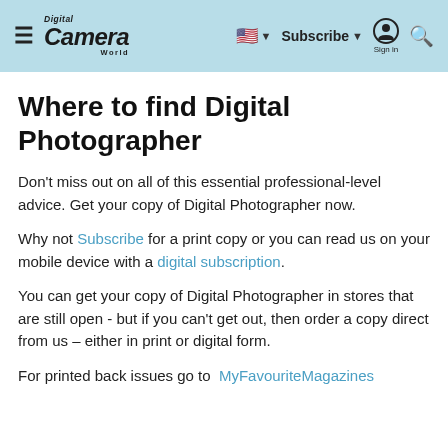Digital Camera World — Subscribe | Sign in
Where to find Digital Photographer
Don't miss out on all of this essential professional-level advice. Get your copy of Digital Photographer now.
Why not Subscribe for a print copy or you can read us on your mobile device with a digital subscription.
You can get your copy of Digital Photographer in stores that are still open - but if you can't get out, then order a copy direct from us – either in print or digital form.
For printed back issues go to  MyFavouriteMagazines